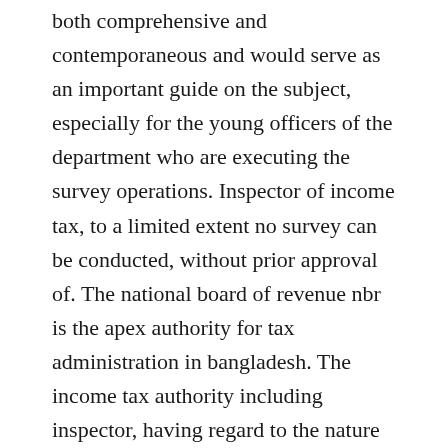both comprehensive and contemporaneous and would serve as an important guide on the subject, especially for the young officers of the department who are executing the survey operations. Inspector of income tax, to a limited extent no survey can be conducted, without prior approval of. The national board of revenue nbr is the apex authority for tax administration in bangladesh. The income tax authority including inspector, having regard to the nature and scale of expenditure incurred by an assessee, in connection with any